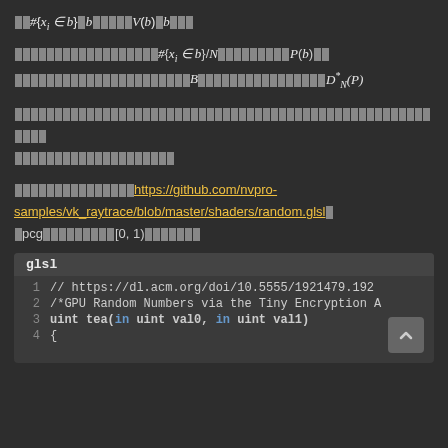[redacted] #{x_i in b}/N [redacted] P(b) [redacted] B [redacted] D*_N(P)
[redacted long text block]
[redacted] https://github.com/nvpro-samples/vk_raytrace/blob/master/shaders/random.glsl [redacted] pcg [redacted] [0,1) [redacted]
[Figure (screenshot): GLSL code block showing lines 1-4: comment with ACM doi URL, GPU Random Numbers comment, uint tea function signature, opening brace]